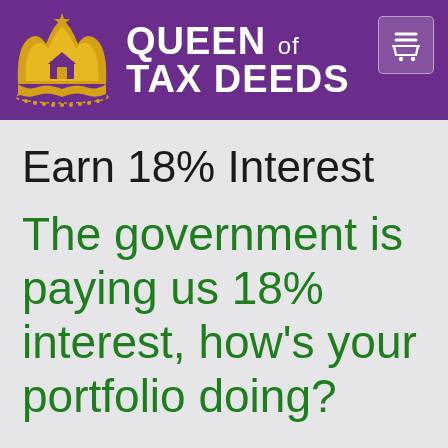[Figure (logo): Queen of Tax Deeds logo: golden crown with house icon on purple background, with brand name text and shopping cart icon]
Earn 18% Interest
The government is paying us 18% interest, how's your portfolio doing?